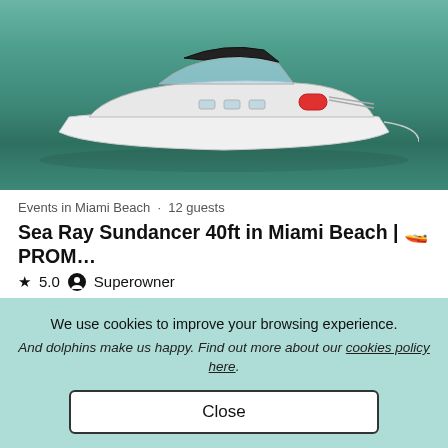[Figure (photo): Aerial view of a white Sea Ray Sundancer 40ft motorboat floating on teal/green water, with a red object on the bow deck.]
Events in Miami Beach · 12 guests
Sea Ray Sundancer 40ft in Miami Beach | 🚤 PROM…
★ 5.0  ● Superowner
$175 hour
We use cookies to improve your browsing experience.
And dolphins make us happy. Find out more about our cookies policy here.
Close